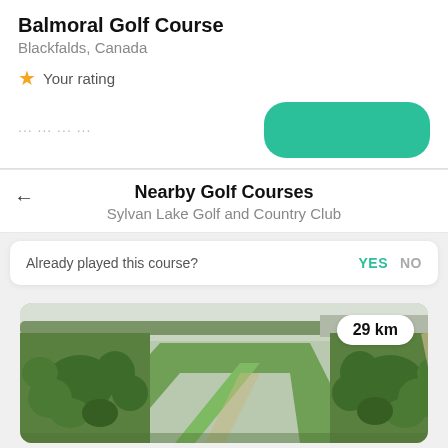Balmoral Golf Course
Blackfalds, Canada
★ Your rating
Nearby Golf Courses
Sylvan Lake Golf and Country Club
Already played this course? YES NO
29 km
[Figure (photo): Aerial view of a golf course fairway lined with trees, with a town visible in the background]